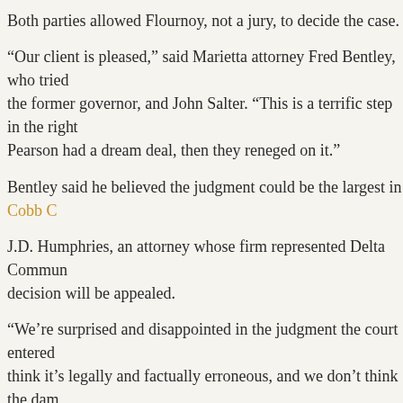Both parties allowed Flournoy, not a jury, to decide the case.
“Our client is pleased,” said Marietta attorney Fred Bentley, who tried the former governor, and John Salter. “This is a terrific step in the right direction. Pearson had a dream deal, then they reneged on it.”
Bentley said he believed the judgment could be the largest in Cobb C[ounty history].
J.D. Humphries, an attorney whose firm represented Delta Commun[ity Credit Union, said the] decision will be appealed.
“We’re surprised and disappointed in the judgment the court entered[. We] think it’s legally and factually erroneous, and we don’t think the dam[ages are] sustainable.”
The Atlanta-based credit union, which has more than $4 billion in as[sets, is the largest state-] chartered credit union.
In an email to employees, CEO Rick Foley said, “I continue to believe[ we acted] in good faith in this matter. … We believe the judgment will not imp[act our operations].”